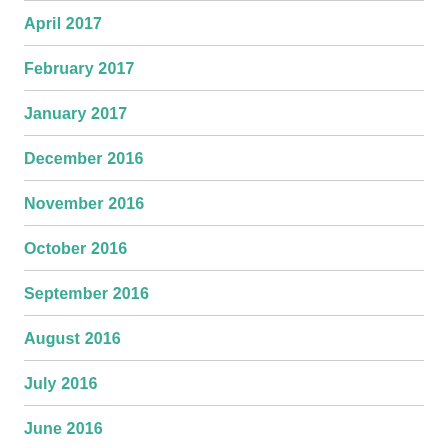April 2017
February 2017
January 2017
December 2016
November 2016
October 2016
September 2016
August 2016
July 2016
June 2016
May 2016